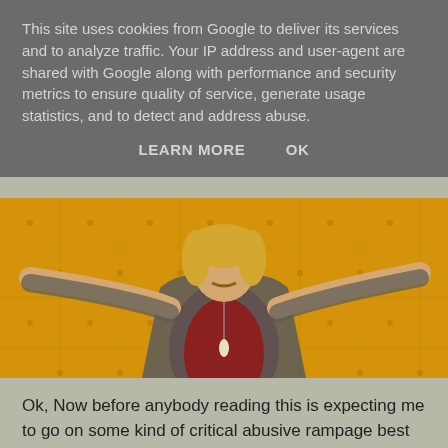This site uses cookies from Google to deliver its services and to analyze traffic. Your IP address and user-agent are shared with Google along with performance and security metrics to ensure quality of service, generate usage statistics, and to detect and address abuse.
LEARN MORE    OK
[Figure (photo): A man with blonde hair and a mustache wearing a grey jacket over a red shirt with patterned trousers, posing with arms spread out against a yellow tufted sofa/wall background.]
Ok, Now before anybody reading this is expecting me to go on some kind of critical abusive rampage best stand back,